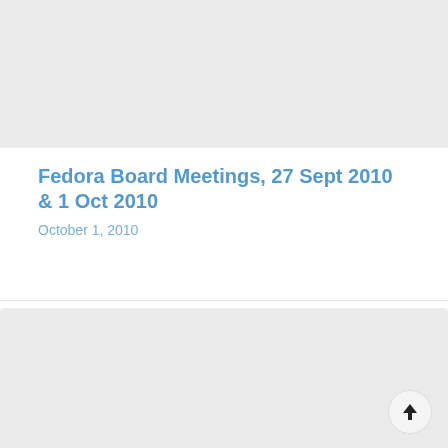[Figure (other): Light gray placeholder image block at top of page]
Fedora Board Meetings, 27 Sept 2010 & 1 Oct 2010
October 1, 2010
[Figure (other): Light gray placeholder image block at bottom of page with a scroll-to-top button in the lower right corner]